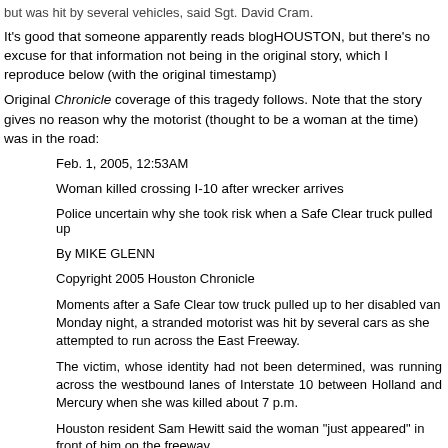but was hit by several vehicles, said Sgt. David Cram.
It's good that someone apparently reads blogHOUSTON, but there's no excuse for that information not being in the original story, which I reproduce below (with the original timestamp)
Original Chronicle coverage of this tragedy follows. Note that the story gives no reason why the motorist (thought to be a woman at the time) was in the road:
Feb. 1, 2005, 12:53AM
Woman killed crossing I-10 after wrecker arrives
Police uncertain why she took risk when a Safe Clear truck pulled up
By MIKE GLENN
Copyright 2005 Houston Chronicle
Moments after a Safe Clear tow truck pulled up to her disabled van Monday night, a stranded motorist was hit by several cars as she attempted to run across the East Freeway.
The victim, whose identity had not been determined, was running across the westbound lanes of Interstate 10 between Holland and Mercury when she was killed about 7 p.m.
Houston resident Sam Hewitt said the woman "just appeared" in front of him on the freeway.
He said she flew into his lane after being struck by another vehicle.
"I hit my brake and fishtailed. I think I clipped her," said Hewitt, still shaken by the incident. "I don't know how many people ran over her."
Houston police said the woman first pulled her van to the left shoulder of eastbound I-10, then successfully crossed over the westbound lanes. A wrecker participating in